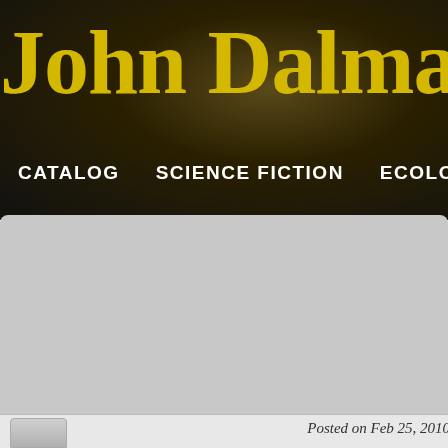John Dalma
CATALOG   SCIENCE FICTION   ECOLOGY   HIST
[Figure (screenshot): Website search form with fields: Search (text input with 'IN THE COUNTRY OF THE BL...'), Topic (dropdown with 'Any'), and a Search button]
Posted on Feb 25, 2010 |